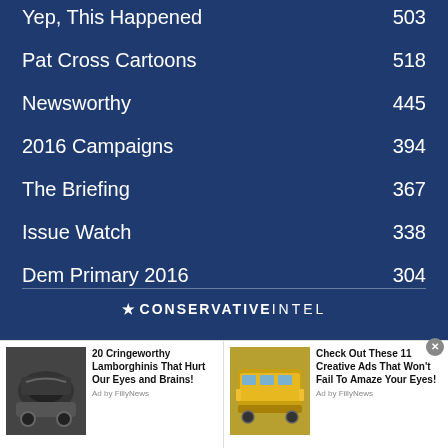Yep, This Happened 503
Pat Cross Cartoons 518
Newsworthy 445
2016 Campaigns 394
The Briefing 367
Issue Watch 338
Dem Primary 2016 304
[Figure (logo): Conservative Intel star logo with text CONSERVATIVEINTEL]
[Figure (photo): Advertisement: 20 Cringeworthy Lamborghinis That Hurt Our Eyes and Brains! Ad by FillyNews, with car engine image]
[Figure (photo): Advertisement: Check Out These 11 Creative Ads That Won't Fail To Amaze Your Eyes! Ad by FillyNews, with yellow bus image]